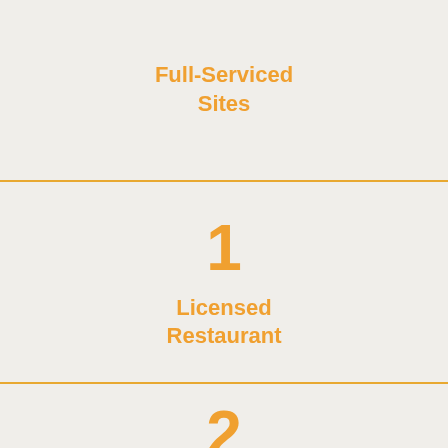Full-Serviced Sites
1
Licensed Restaurant
2
Swimming Pools